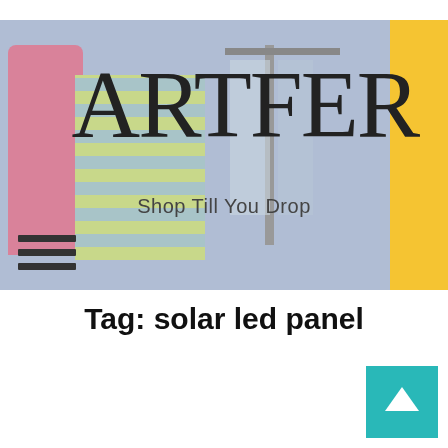[Figure (illustration): Artfer shopping website banner with clothing store illustration, showing pink dress, striped clothing on rack, 'ARTFER' logo in large serif font, tagline 'Shop Till You Drop', hamburger menu icon on left, yellow block on right side]
Tag: solar led panel
[Figure (illustration): Back to top button - teal/cyan square with white upward-pointing arrow chevron]